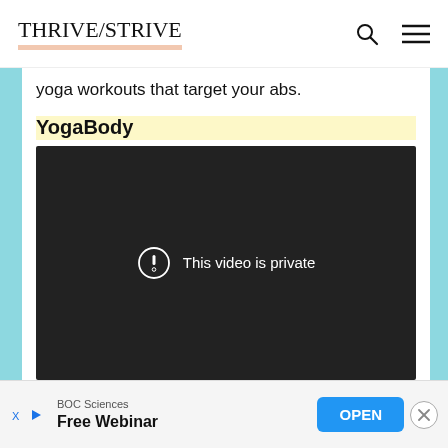THRIVE/STRIVE
yoga workouts that target your abs.
YogaBody
[Figure (screenshot): Embedded video player showing 'This video is private' message on dark background]
BOC Sciences Free Webinar OPEN